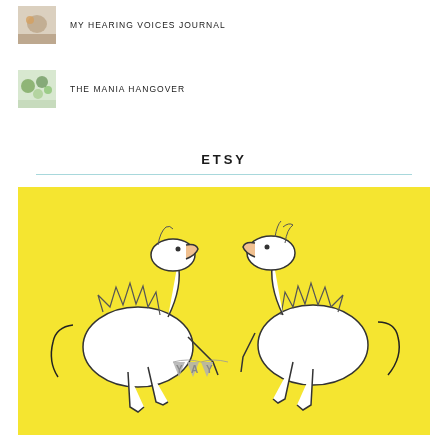MY HEARING VOICES JOURNAL
THE MANIA HANGOVER
ETSY
[Figure (illustration): Yellow background illustration of two dinosaurs holding a 'YAY' banner between them. Both dinosaurs are drawn in a sketchy black-and-white style against a bright yellow background.]